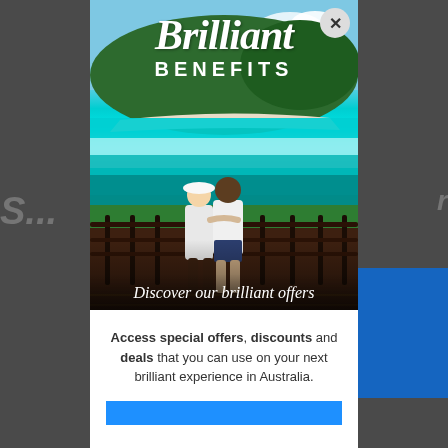[Figure (photo): A popup/modal overlay on a travel website showing 'Brilliant Benefits' with a photo of two people looking at turquoise Whitsunday Islands waters from a lookout deck, with 'Discover our brilliant offers' text and a call-to-action button below.]
Brilliant BENEFITS
Discover our brilliant offers
Access special offers, discounts and deals that you can use on your next brilliant experience in Australia.